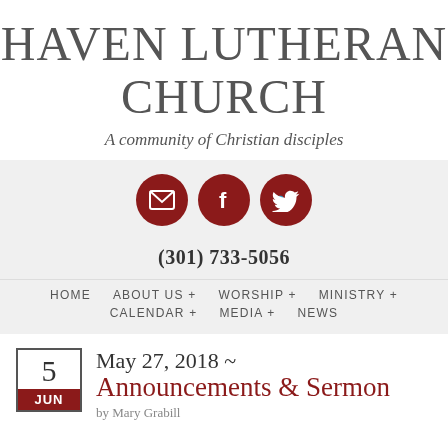HAVEN LUTHERAN CHURCH
A community of Christian disciples
[Figure (infographic): Three dark red circular social media icons: envelope (email), Facebook 'f', and Twitter bird]
(301) 733-5056
HOME   ABOUT US +   WORSHIP +   MINISTRY +   CALENDAR +   MEDIA +   NEWS
5 JUN   May 27, 2018 ~ Announcements & Sermon   by Mary Grabill